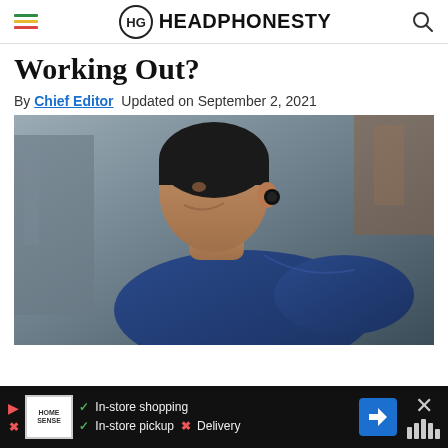HEADPHONESTY
Working Out?
By Chief Editor  Updated on September 2, 2021
[Figure (photo): Man wearing wireless earbuds in his ear, dressed in a navy blue athletic shirt, photographed in profile view against an urban blurred background, appearing to be exercising or running.]
In-store shopping   In-store pickup  × Delivery